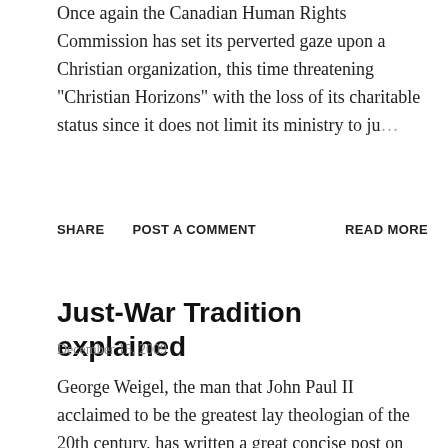Once again the Canadian Human Rights Commission has set its perverted gaze upon a Christian organization, this time threatening "Christian Horizons" with the loss of its charitable status since it does not limit its ministry to ju…
SHARE   POST A COMMENT   READ MORE
Just-War Tradition explained
December 15, 2009
George Weigel, the man that John Paul II acclaimed to be the greatest lay theologian of the 20th century, has written a great concise post on the National Review which is also posted here on the Ethics and Public Policy Cent…